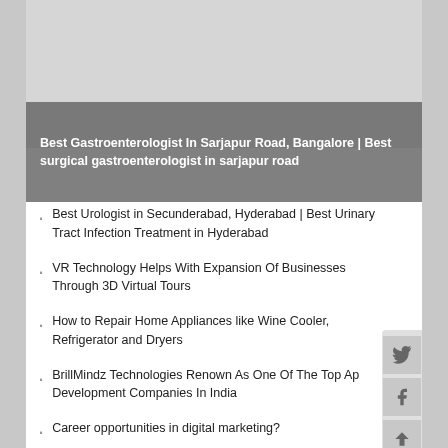[Figure (photo): Gray placeholder image area at the top of the card]
Best Gastroenterologist In Sarjapur Road, Bangalore | Best surgical gastroenterologist in sarjapur road
Best Urologist in Secunderabad, Hyderabad | Best Urinary Tract Infection Treatment in Hyderabad
VR Technology Helps With Expansion Of Businesses Through 3D Virtual Tours
How to Repair Home Appliances like Wine Cooler, Refrigerator and Dryers
BrillMindz Technologies Renown As One Of The Top Ap Development Companies In India
Career opportunities in digital marketing?